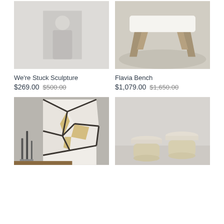[Figure (photo): Blurry photo of a sculpture on a white surface in a minimalist room]
[Figure (photo): Flavia bench with cream cushion and gold/brass angled legs on a rug]
We're Stuck Sculpture
$269.00  $500.00
Flavia Bench
$1,079.00  $1,650.00
[Figure (photo): Abstract art painting with white and gold segments with dark lines, displayed with candle holders]
[Figure (photo): Blurry photo of two small round stools with gold/natural wood finish in a light room]